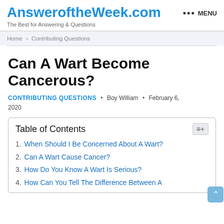AnsweroftheWeek.com
The Best for Answering & Questions
Home > Contributing Questions
Can A Wart Become Cancerous?
CONTRIBUTING QUESTIONS • Boy William • February 6, 2020
| Table of Contents |
| --- |
| 1. When Should I Be Concerned About A Wart? |
| 2. Can A Wart Cause Cancer? |
| 3. How Do You Know A Wart Is Serious? |
| 4. How Can You Tell The Difference Between A |